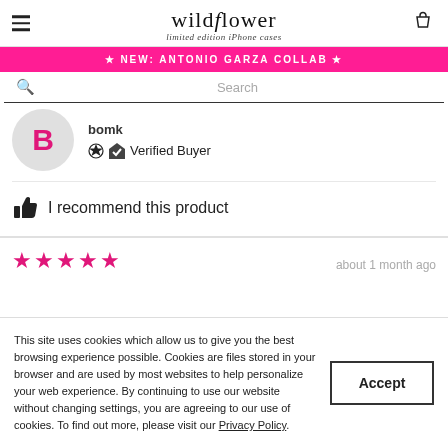wildflower limited edition iPhone cases
★ NEW: ANTONIO GARZA COLLAB ★
Search
bomk
Verified Buyer
I recommend this product
[Figure (other): Five pink star rating icons]
about 1 month ago
This site uses cookies which allow us to give you the best browsing experience possible. Cookies are files stored in your browser and are used by most websites to help personalize your web experience. By continuing to use our website without changing settings, you are agreeing to our use of cookies. To find out more, please visit our Privacy Policy.